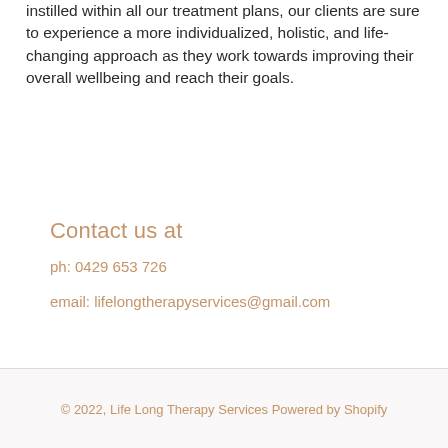instilled within all our treatment plans, our clients are sure to experience a more individualized, holistic, and life-changing approach as they work towards improving their overall wellbeing and reach their goals.
Contact us at
ph: 0429 653 726
email: lifelongtherapyservices@gmail.com
© 2022, Life Long Therapy Services Powered by Shopify